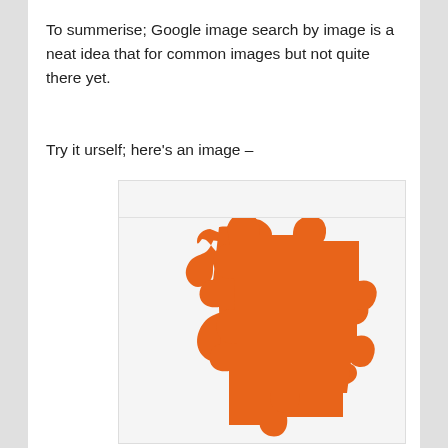To summerise; Google image search by image is a neat idea that for common images but not quite there yet.
Try it urself; here's an image –
[Figure (illustration): An orange puzzle piece shape pinned to a light grey board with a metal pushpin at the top center.]